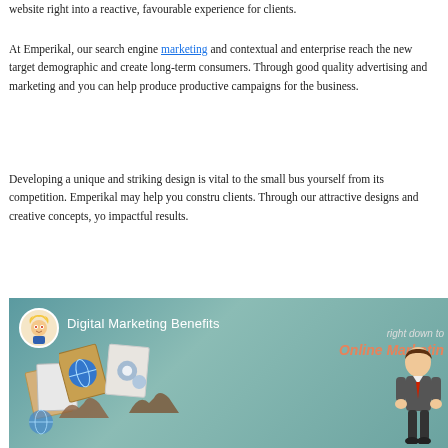website right into a reactive, favourable experience for clients.
At Emperikal, our search engine marketing and contextual and enterprise reach the new target demographic and create long-term consumers. Through good quality advertising and marketing and you can help produce productive campaigns for the business.
Developing a unique and striking design is vital to the small business yourself from its competition. Emperikal may help you construct clients. Through our attractive designs and creative concepts, you impactful results.
[Figure (infographic): Digital Marketing Benefits infographic thumbnail showing a cartoon avatar, colorful marketing boards with icons, a cartoon person figure, and text overlays: 'right down to' and 'Online Marketing']